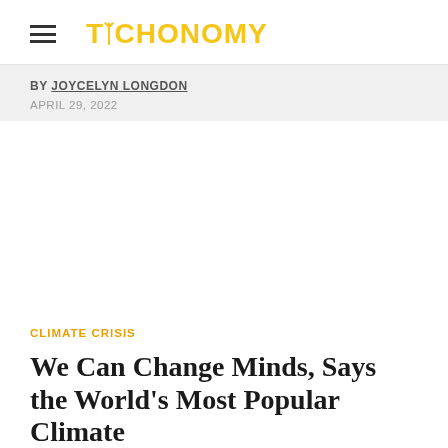TECHONOMY
BY JOYCELYN LONGDON
APRIL 29, 2022
CLIMATE CRISIS
We Can Change Minds, Says the World's Most Popular Climate